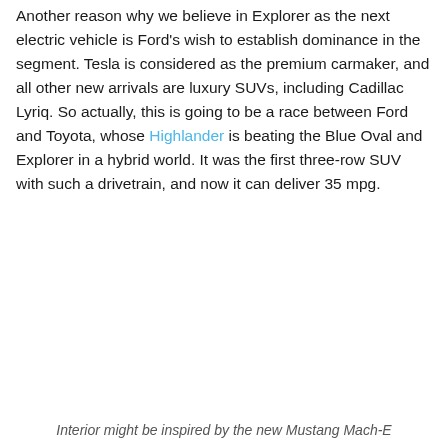Another reason why we believe in Explorer as the next electric vehicle is Ford's wish to establish dominance in the segment. Tesla is considered as the premium carmaker, and all other new arrivals are luxury SUVs, including Cadillac Lyriq. So actually, this is going to be a race between Ford and Toyota, whose Highlander is beating the Blue Oval and Explorer in a hybrid world. It was the first three-row SUV with such a drivetrain, and now it can deliver 35 mpg.
Interior might be inspired by the new Mustang Mach-E